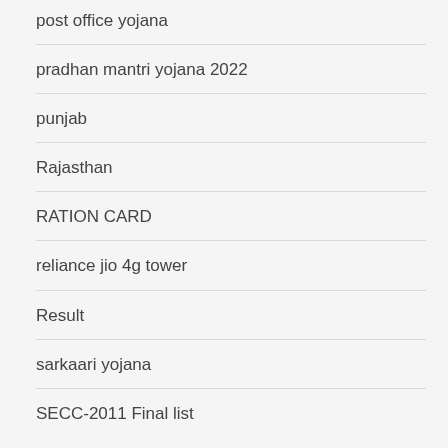post office yojana
pradhan mantri yojana 2022
punjab
Rajasthan
RATION CARD
reliance jio 4g tower
Result
sarkaari yojana
SECC-2011 Final list